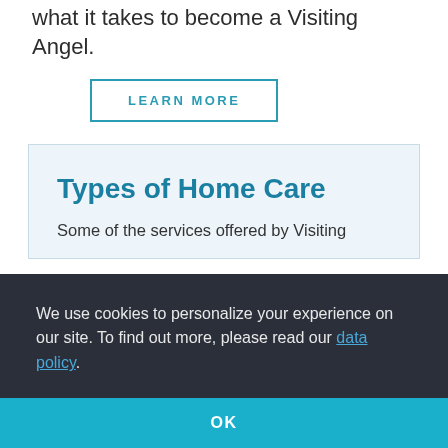what it takes to become a Visiting Angel.
LEARN MORE
Types of Home Care
Some of the services offered by Visiting
We use cookies to personalize your experience on our site. To find out more, please read our data policy.
OK
» Dementia Care